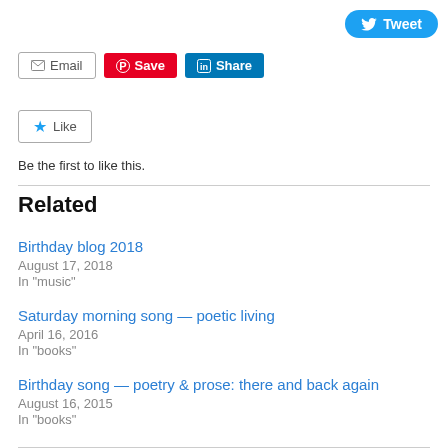[Figure (other): Tweet button (blue rounded button with Twitter bird icon and 'Tweet' label)]
[Figure (other): Social share buttons: Email (grey outline), Save (red Pinterest), Share (blue LinkedIn)]
[Figure (other): Like button (grey outline with blue star icon and 'Like' label)]
Be the first to like this.
Related
Birthday blog 2018
August 17, 2018
In "music"
Saturday morning song — poetic living
April 16, 2016
In "books"
Birthday song — poetry & prose: there and back again
August 16, 2015
In "books"